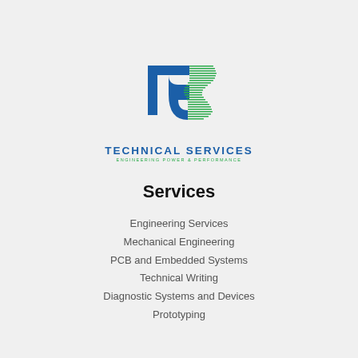[Figure (logo): Technical Services logo: blue stylized T-S letterform with green horizontal lines on right side]
Services
Engineering Services
Mechanical Engineering
PCB and Embedded Systems
Technical Writing
Diagnostic Systems and Devices
Prototyping